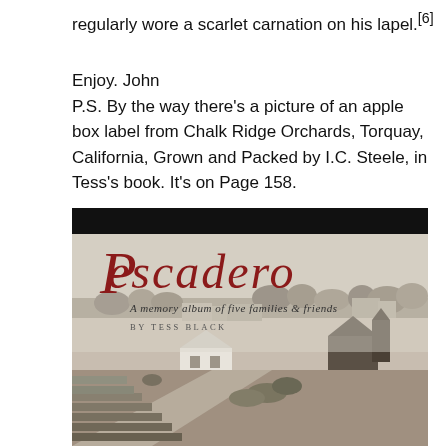regularly wore a scarlet carnation on his lapel.[6]
Enjoy. John
P.S. By the way there's a picture of an apple box label from Chalk Ridge Orchards, Torquay, California, Grown and Packed by I.C. Steele, in Tess's book. It's on Page 158.
[Figure (photo): Book cover of 'Pescadero: A memory album of five families & friends' by Tess Black. The cover shows the title 'Pescadero' in large red italic script, subtitle 'A memory album of five families & friends' in smaller italic text, author 'by Tess Black' in small caps, and a sepia-toned landscape photograph of a rural town with buildings, trees, and fields.]